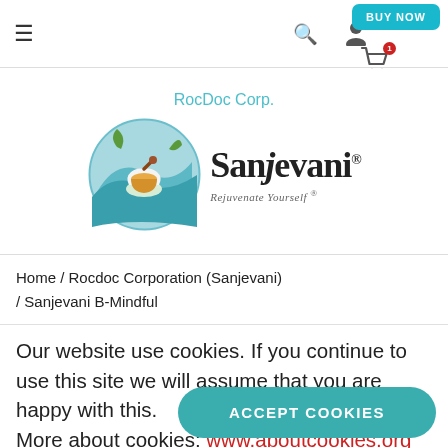≡  🔍  👤  🛒  BUY NOW
[Figure (logo): RocDoc Corp. / Sanjevani logo with circular emblem showing mortar and pestle with hands and teal waves, alongside Sanjevani wordmark with tagline 'Rejuvenate Yourself']
Home / Rocdoc Corporation (Sanjevani) / Sanjevani B-Mindful
Our website use cookies. If you continue to use this site we will assume that you are happy with this.
More about cookies: www.aboutcookies.org
ACCEPT COOKIES